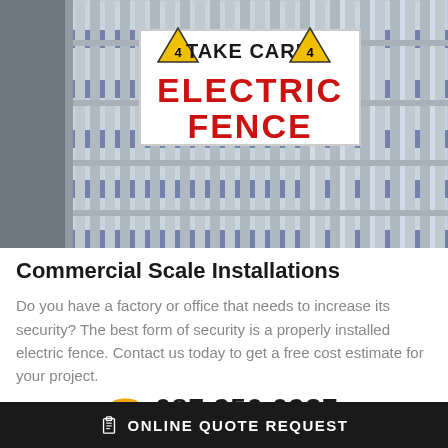[Figure (photo): Electric fence with metal vertical bars and a white warning sign reading 'TAKE CARE ELECTRIC FENCE' with yellow lightning bolt warning triangles. Background shows a multi-story building.]
Commercial Scale Installations
Do you have a factory or office that needs to increase its security? The best form of security is a properly installed electric fence. Contact us today to get a free cost estimate for your project.
087 250 0937
ONLINE QUOTE REQUEST